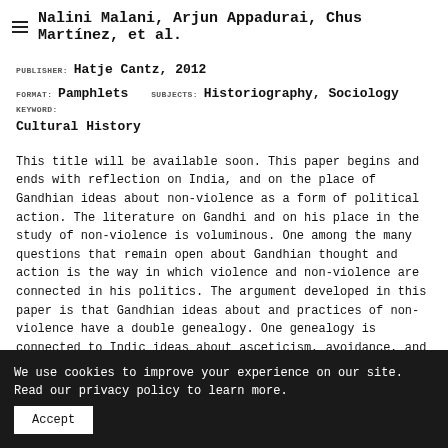Nalini Malani, Arjun Appadurai, Chus Martínez, et al.
PUBLISHER: Hatje Cantz, 2012  FORMAT: Pamphlets  SUBJECTS: Historiography, Sociology  KEYWORD: Cultural History
This title will be available soon. This paper begins and ends with reflection on India, and on the place of Gandhian ideas about non-violence as a form of political action. The literature on Gandhi and on his place in the study of non-violence is voluminous. One among the many questions that remain open about Gandhian thought and action is the way in which violence and non-violence are connected in his politics. The argument developed in this paper is that Gandhian ideas about and practices of non-violence have a double genealogy. One genealogy is connected to Indic ideas about asceticism, avoidance, and ...
We use cookies to improve your experience on our site. Read our privacy policy to learn more. Accept